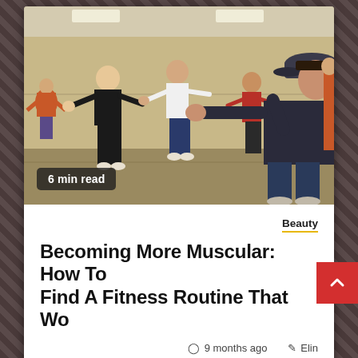[Figure (photo): Group of people in a gymnasium doing a kickboxing or fitness class, punching outward. Several participants visible including a woman in foreground wearing a dark cap. Fluorescent ceiling lights visible.]
6 min read
Beauty
Becoming More Muscular: How To Find A Fitness Routine That Wo
9 months ago   Elin
TIP! Research the exercises you are doing to make sure